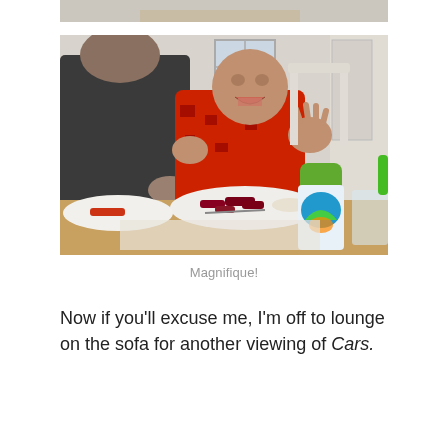[Figure (photo): Partial top portion of a photo visible at top of page, cropped, showing light background]
[Figure (photo): A young child in a red patterned outfit sitting at a dining table, gesturing expressively with hands raised, mouth open smiling. An adult in dark clothing sits to the left. On the table is a white plate with food, a green-capped sippy cup with colorful design, and a glass. Wooden table surface visible.]
Magnifique!
Now if you'll excuse me, I'm off to lounge on the sofa for another viewing of Cars.